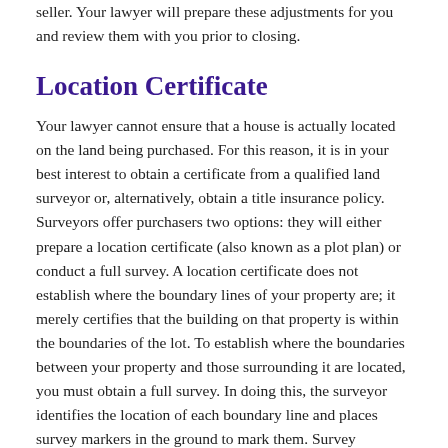seller. Your lawyer will prepare these adjustments for you and review them with you prior to closing.
Location Certificate
Your lawyer cannot ensure that a house is actually located on the land being purchased. For this reason, it is in your best interest to obtain a certificate from a qualified land surveyor or, alternatively, obtain a title insurance policy. Surveyors offer purchasers two options: they will either prepare a location certificate (also known as a plot plan) or conduct a full survey. A location certificate does not establish where the boundary lines of your property are; it merely certifies that the building on that property is within the boundaries of the lot. To establish where the boundaries between your property and those surrounding it are located, you must obtain a full survey. In doing this, the surveyor identifies the location of each boundary line and places survey markers in the ground to mark them. Survey